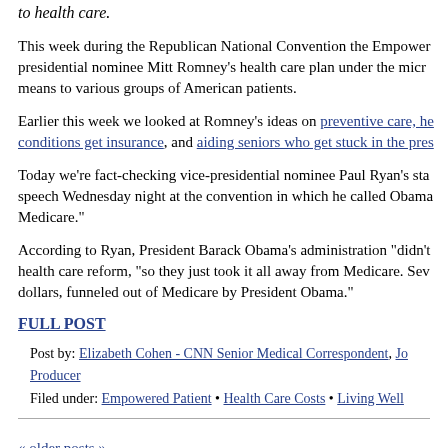to health care.
This week during the Republican National Convention the Empowered presidential nominee Mitt Romney’s health care plan under the micro means to various groups of American patients.
Earlier this week we looked at Romney's ideas on preventive care, he conditions get insurance, and aiding seniors who get stuck in the pres
Today we're fact-checking vice-presidential nominee Paul Ryan's sta speech Wednesday night at the convention in which he called Obama Medicare."
According to Ryan, President Barack Obama's administration "didn't health care reform, "so they just took it all away from Medicare. Sev dollars, funneled out of Medicare by President Obama."
FULL POST
Post by: Elizabeth Cohen - CNN Senior Medical Correspondent, Jo Producer
Filed under: Empowered Patient • Health Care Costs • Living Well
« older posts »